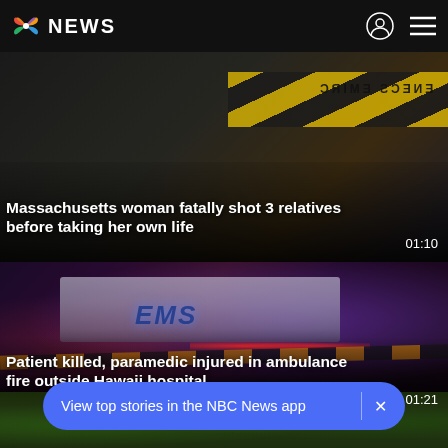NBC NEWS
Massachusetts woman fatally shot 3 relatives before taking her own life
01:10
[Figure (photo): EMS ambulance at night scene with red and blue lights, crime tape, and a figure in the background]
Patient killed, paramedic injured in ambulance fire outside Hawaii hospital
01:21
[Figure (photo): Partial image of foliage/outdoor scene at bottom of page]
View top stories in the NBC News app